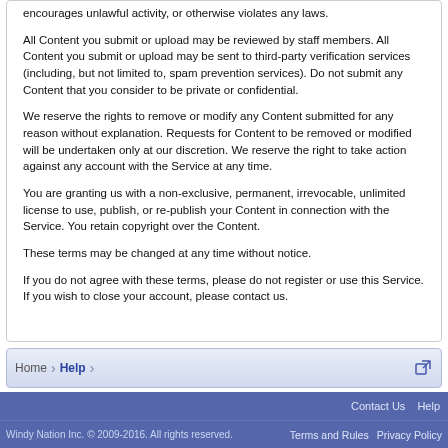encourages unlawful activity, or otherwise violates any laws.
All Content you submit or upload may be reviewed by staff members. All Content you submit or upload may be sent to third-party verification services (including, but not limited to, spam prevention services). Do not submit any Content that you consider to be private or confidential.
We reserve the rights to remove or modify any Content submitted for any reason without explanation. Requests for Content to be removed or modified will be undertaken only at our discretion. We reserve the right to take action against any account with the Service at any time.
You are granting us with a non-exclusive, permanent, irrevocable, unlimited license to use, publish, or re-publish your Content in connection with the Service. You retain copyright over the Content.
These terms may be changed at any time without notice.
If you do not agree with these terms, please do not register or use this Service. If you wish to close your account, please contact us.
Home > Help | Contact Us  Help | Windy Nation Inc. © 2009-2016. All rights reserved. | Terms and Rules  Privacy Policy